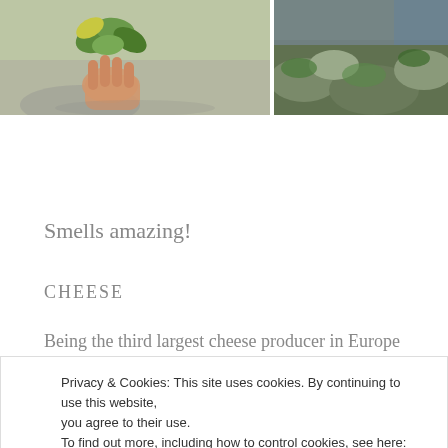[Figure (photo): Two photos side by side: left shows a hand holding green leaves/herbs; right shows mossy rocks or vegetation]
Smells amazing!
CHEESE
Being the third largest cheese producer in Europe Italians are damn good at it. Mozzarella, Burrata,
Privacy & Cookies: This site uses cookies. By continuing to use this website, you agree to their use.
To find out more, including how to control cookies, see here: Cookie Policy
factory! This is inexpressible. Our supermarkets don't